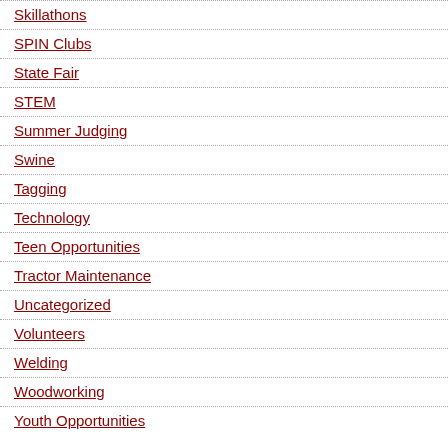Skillathons
SPIN Clubs
State Fair
STEM
Summer Judging
Swine
Tagging
Technology
Teen Opportunities
Tractor Maintenance
Uncategorized
Volunteers
Welding
Woodworking
Youth Opportunities